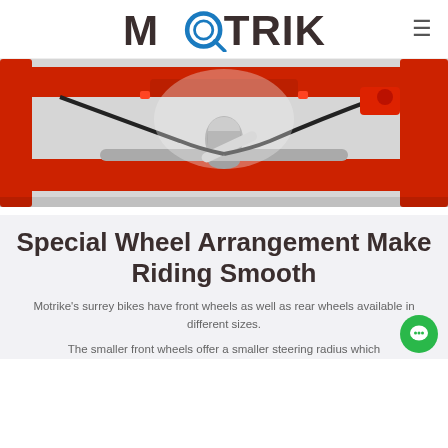MOTRIKE
[Figure (photo): Close-up photo of a red trike/surrey bike frame showing the steering mechanism, brake cables, and chrome components against a white/grey background.]
Special Wheel Arrangement Make Riding Smooth
Motrike's surrey bikes have front wheels as well as rear wheels available in different sizes.
The smaller front wheels offer a smaller steering radius which